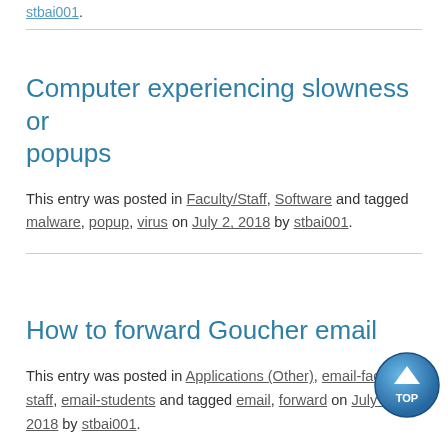stbai001.
Computer experiencing slowness or popups
This entry was posted in Faculty/Staff, Software and tagged malware, popup, virus on July 2, 2018 by stbai001.
How to forward Goucher email
This entry was posted in Applications (Other), email-faculty-staff, email-students and tagged email, forward on July 2, 2018 by stbai001.